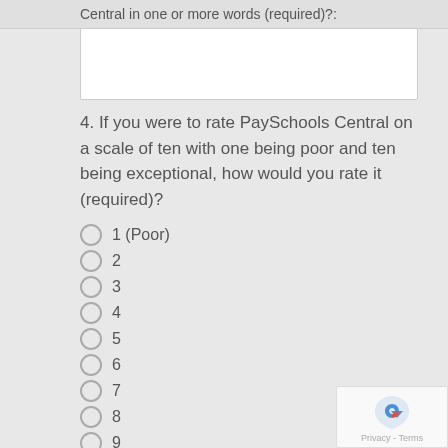Central in one or more words (required)?:
4. If you were to rate PaySchools Central on a scale of ten with one being poor and ten being exceptional, how would you rate it (required)?
1 (Poor)
2
3
4
5
6
7
8
9